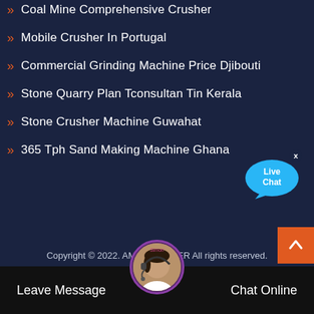Coal Mine Comprehensive Crusher
Mobile Crusher In Portugal
Commercial Grinding Machine Price Djibouti
Stone Quarry Plan Tconsultan Tin Kerala
Stone Crusher Machine Guwahat
365 Tph Sand Making Machine Ghana
[Figure (illustration): Live Chat speech bubble icon in blue with white text 'Live Chat' and an x close button]
Copyright © 2022. AMC CRUSHER All rights reserved.
[Figure (illustration): Customer service avatar with headset, circular photo with purple border]
Leave Message    Chat Online